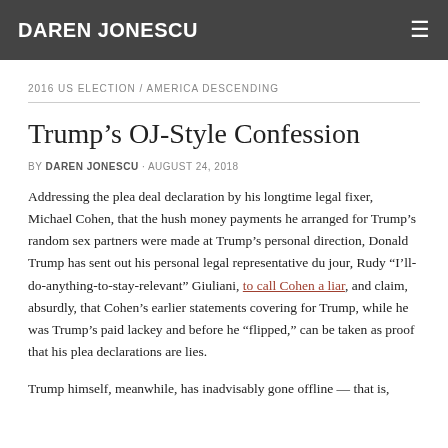DAREN JONESCU
2016 US ELECTION / AMERICA DESCENDING
Trump’s OJ-Style Confession
BY DAREN JONESCU · AUGUST 24, 2018
Addressing the plea deal declaration by his longtime legal fixer, Michael Cohen, that the hush money payments he arranged for Trump’s random sex partners were made at Trump’s personal direction, Donald Trump has sent out his personal legal representative du jour, Rudy “I’ll-do-anything-to-stay-relevant” Giuliani, to call Cohen a liar, and claim, absurdly, that Cohen’s earlier statements covering for Trump, while he was Trump’s paid lackey and before he “flipped,” can be taken as proof that his plea declarations are lies.
Trump himself, meanwhile, has inadvisably gone offline — that is,